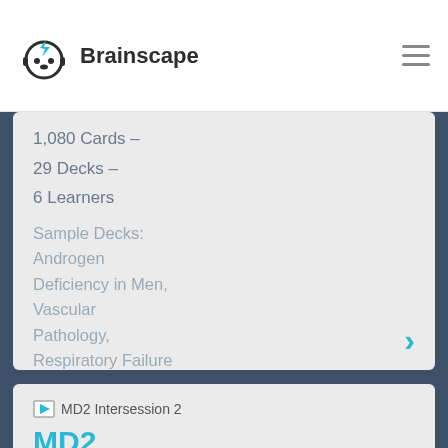Brainscape
1,080 Cards –
29 Decks –
6 Learners
Sample Decks: Androgen Deficiency in Men, Vascular Pathology, Respiratory Failure
[Figure (screenshot): MD2 Intersession 2 thumbnail image placeholder]
MD2 Intersession 2